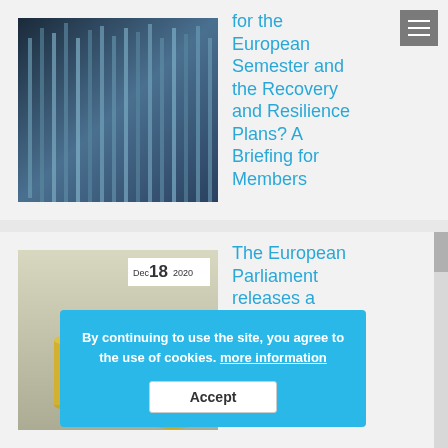[Figure (photo): Photo of a building with vertical columns/facade, appearing to be the European Commission or Parliament building]
for the European Semester and the Recovery and Resilience Plans? A Briefing for Members
[Figure (photo): Photo showing small figurines of people standing next to stacks of coins, representing finance/economy concept. Date badge shows Dec 18 2020.]
The European Parliament releases a report on the future EU Labour Market
By continuing to use the site, you agree to the use of cookies. more information